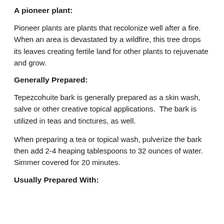A pioneer plant:
Pioneer plants are plants that recolonize well after a fire. When an area is devastated by a wildfire, this tree drops its leaves creating fertile land for other plants to rejuvenate and grow.
Generally Prepared:
Tepezcohuite bark is generally prepared as a skin wash, salve or other creative topical applications.  The bark is utilized in teas and tinctures, as well.
When preparing a tea or topical wash, pulverize the bark then add 2-4 heaping tablespoons to 32 ounces of water.  Simmer covered for 20 minutes.
Usually Prepared With: